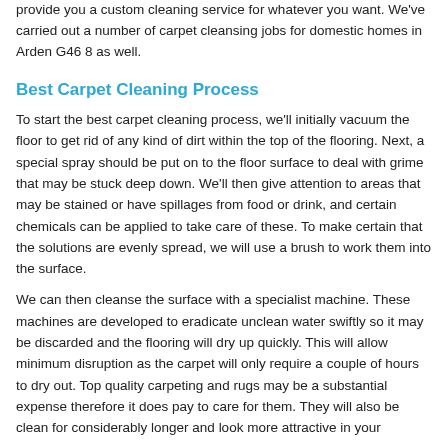provide you a custom cleaning service for whatever you want. We've carried out a number of carpet cleansing jobs for domestic homes in Arden G46 8 as well.
Best Carpet Cleaning Process
To start the best carpet cleaning process, we'll initially vacuum the floor to get rid of any kind of dirt within the top of the flooring. Next, a special spray should be put on to the floor surface to deal with grime that may be stuck deep down. We'll then give attention to areas that may be stained or have spillages from food or drink, and certain chemicals can be applied to take care of these. To make certain that the solutions are evenly spread, we will use a brush to work them into the surface.
We can then cleanse the surface with a specialist machine. These machines are developed to eradicate unclean water swiftly so it may be discarded and the flooring will dry up quickly. This will allow minimum disruption as the carpet will only require a couple of hours to dry out. Top quality carpeting and rugs may be a substantial expense therefore it does pay to care for them. They will also be clean for considerably longer and look more attractive in your